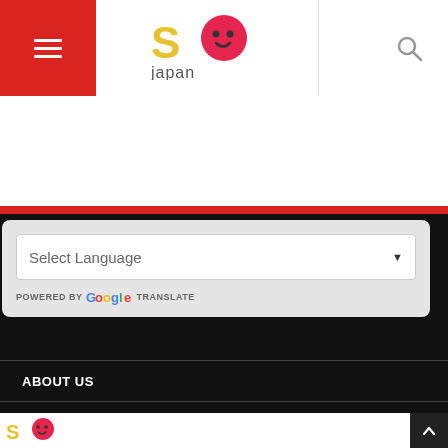SO Japan header with hamburger menu, logo, and search icon
[Figure (logo): SO Japan logo with colorful S and O letters and 'japan' text below]
Select Language
POWERED BY Google TRANSLATE
ABOUT US
PRIVACY POLICY
ADVERTISING
SO Japan footer with logo and scroll-to-top button